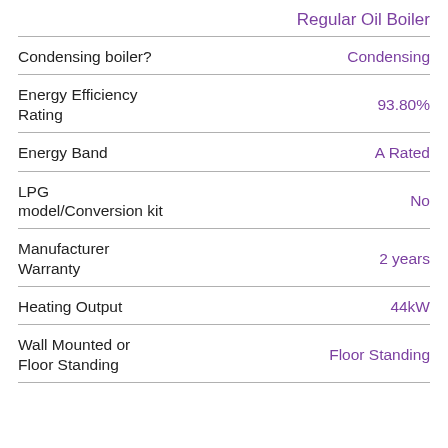Regular Oil Boiler
| Property | Value |
| --- | --- |
| Condensing boiler? | Condensing |
| Energy Efficiency Rating | 93.80% |
| Energy Band | A Rated |
| LPG model/Conversion kit | No |
| Manufacturer Warranty | 2 years |
| Heating Output | 44kW |
| Wall Mounted or Floor Standing | Floor Standing |